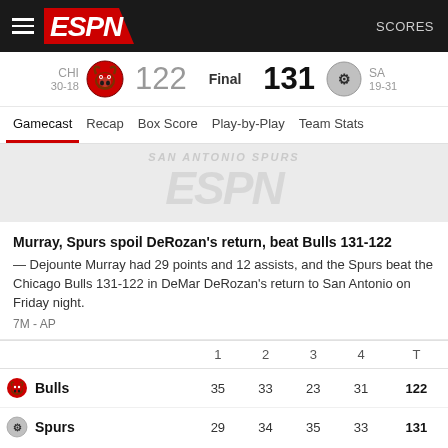ESPN — SCORES
CHI 30-18  122  Final  131  SA 19-31
Gamecast  Recap  Box Score  Play-by-Play  Team Stats
[Figure (logo): ESPN watermark logo in light gray on gray background]
Murray, Spurs spoil DeRozan's return, beat Bulls 131-122 — Dejounte Murray had 29 points and 12 assists, and the Spurs beat the Chicago Bulls 131-122 in DeMar DeRozan's return to San Antonio on Friday night.
7M - AP
|  | 1 | 2 | 3 | 4 | T |
| --- | --- | --- | --- | --- | --- |
| Bulls | 35 | 33 | 23 | 31 | 122 |
| Spurs | 29 | 34 | 35 | 33 | 131 |